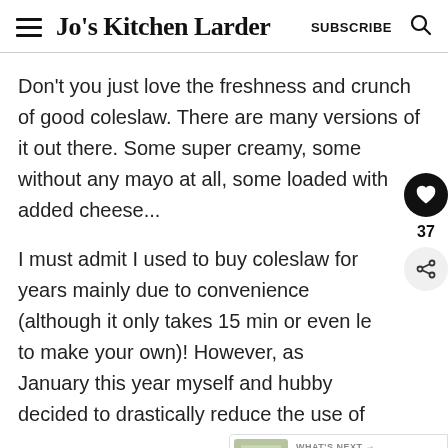Jo's Kitchen Larder  SUBSCRIBE
Don't you just love the freshness and crunch of good coleslaw. There are many versions of it out there. Some super creamy, some without any mayo at all, some loaded with added cheese...
I must admit I used to buy coleslaw for years mainly due to convenience (although it only takes 15 min or even le to make your own)! However, as January this year myself and hubby decided to drastically reduce the use of
[Figure (other): Floating heart like button (black circle with white heart icon), like count '37', and share button below]
[Figure (other): What's Next banner showing Creamy Pasta Primavera with thumbnail image]